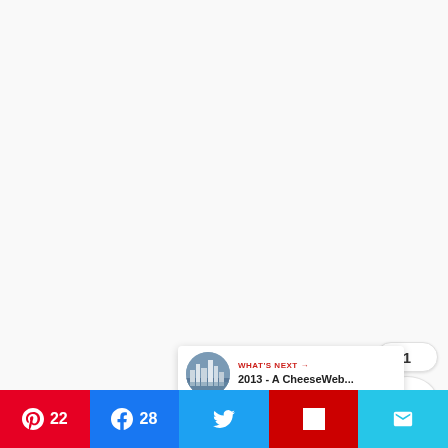[Figure (other): Floating heart/like button (red circle with heart icon), count badge showing 1, and share button (white circle with share icon) on the right side of the page]
WHAT'S NEXT → 2013 - A CheeseWeb...
[Figure (photo): Thumbnail image of a city skyline with tall buildings near water, used as a circular thumbnail in the What's Next card]
22  28  [Twitter]  [Flipboard]  [Email]